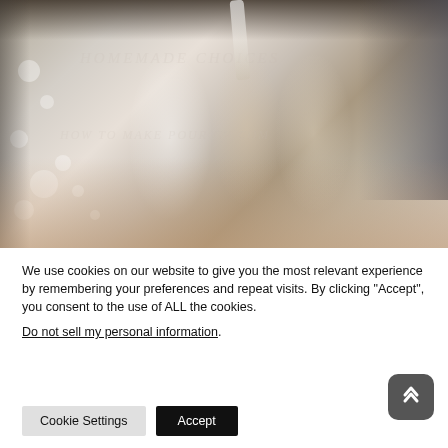[Figure (photo): Photo of people clinking champagne/sparkling wine glasses at a celebration, with liquid being poured, bokeh background lighting]
We use cookies on our website to give you the most relevant experience by remembering your preferences and repeat visits. By clicking “Accept”, you consent to the use of ALL the cookies.
Do not sell my personal information.
Cookie Settings  Accept